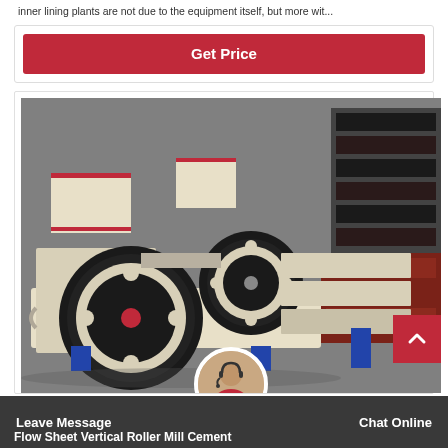inner lining plants are not due to the equipment itself, but more wit...
Get Price
[Figure (photo): Industrial roll crusher machine with two large black flywheels, cream/beige colored body, red-accented hopper on top, mounted on blue base frame, shot in a warehouse with red brick-like molds stacked in background.]
Flow Sheet Vertical Roller Mill Cement
Leave Message
Chat Online